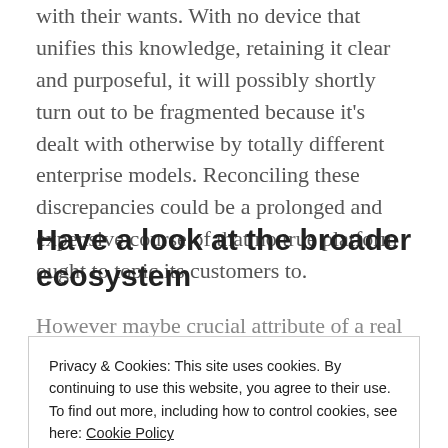with their wants. With no device that unifies this knowledge, retaining it clear and purposeful, it will possibly shortly turn out to be fragmented because it's dealt with otherwise by totally different enterprise models. Reconciling these discrepancies could be a prolonged and expensive course of that no true platform ought to topic its customers to.
Have a look at the broader ecosystem
However maybe crucial attribute of a real platform is
Privacy & Cookies: This site uses cookies. By continuing to use this website, you agree to their use.
To find out more, including how to control cookies, see here: Cookie Policy
sides of the product. There's not one API for